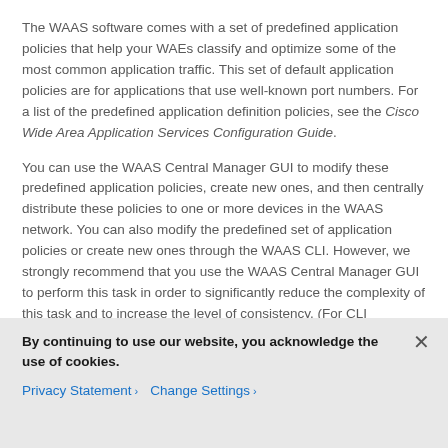The WAAS software comes with a set of predefined application policies that help your WAEs classify and optimize some of the most common application traffic. This set of default application policies are for applications that use well-known port numbers. For a list of the predefined application definition policies, see the Cisco Wide Area Application Services Configuration Guide.
You can use the WAAS Central Manager GUI to modify these predefined application policies, create new ones, and then centrally distribute these policies to one or more devices in the WAAS network. You can also modify the predefined set of application policies or create new ones through the WAAS CLI. However, we strongly recommend that you use the WAAS Central Manager GUI to perform this task in order to significantly reduce the complexity of this task and to increase the level of consistency. (For CLI
By continuing to use our website, you acknowledge the use of cookies.
Privacy Statement > Change Settings >